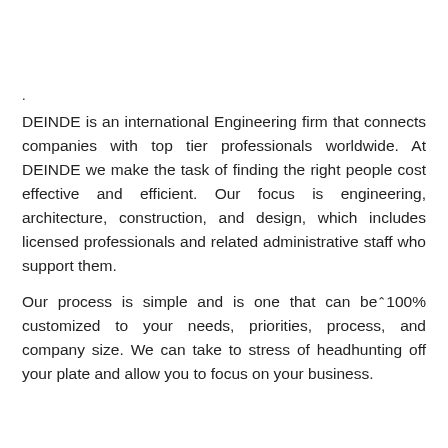.
DEINDE is an international Engineering firm that connects companies with top tier professionals worldwide. At DEINDE we make the task of finding the right people cost effective and efficient. Our focus is engineering, architecture, construction, and design, which includes licensed professionals and related administrative staff who support them.
Our process is simple and is one that can be 100% customized to your needs, priorities, process, and company size. We can take to stress of headhunting off your plate and allow you to focus on your business.